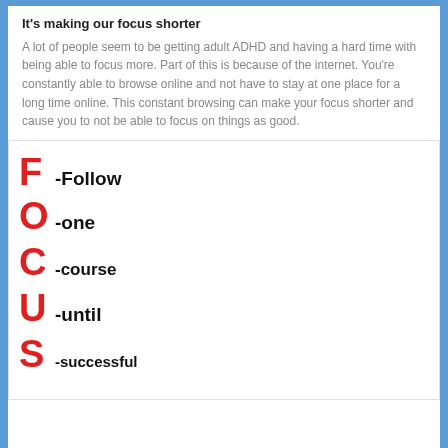It's making our focus shorter
A lot of people seem to be getting adult ADHD and having a hard time with being able to focus more. Part of this is because of the internet. You're constantly able to browse online and not have to stay at one place for a long time online. This constant browsing can make your focus shorter and cause you to not be able to focus on things as good.
[Figure (infographic): FOCUS acronym: F-Follow, O-one, C-course, U-until, S-successful. On the right side, many black arrows pointing in random directions (up and down) with a single red arrow pointing right, representing focus amid chaos.]